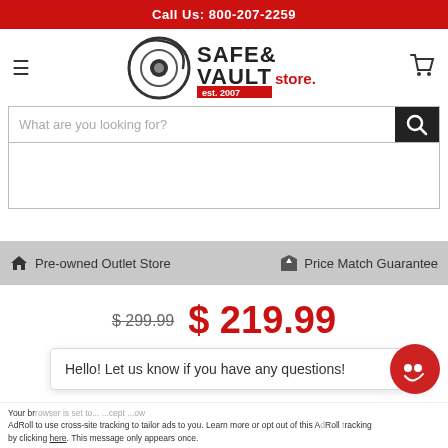Call Us: 800-207-2259
[Figure (logo): Safe & Vault Store.com logo with circular eye icon and 'est. 2007' text]
What are you looking for?
Pre-owned Outlet Store   Price Match Guarantee
$ 299.99  $ 219.99
Hello! Let us know if you have any questions!
Your browser is set to block third-party cookies. This will affect how ads are shown to you on this site now. AdRoll to use cross-site tracking to tailor ads to you. Learn more or opt out of this AdRoll tracking by clicking here. This message only appears once.